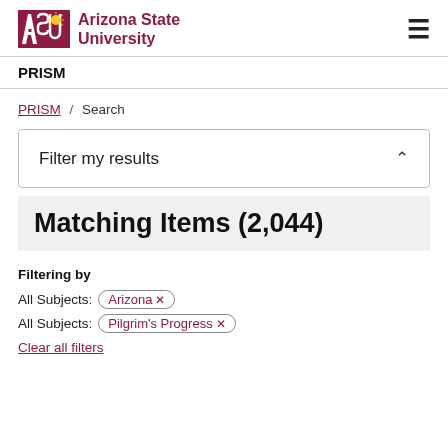ASU Arizona State University
PRISM
PRISM / Search
Filter my results
Matching Items (2,044)
Filtering by
All Subjects: Arizona ×
All Subjects: Pilgrim's Progress ×
Clear all filters